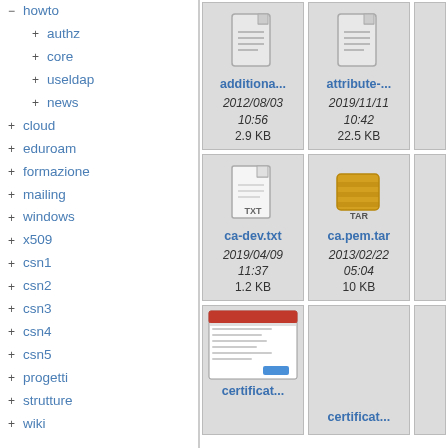[Figure (screenshot): Wiki/documentation site navigation tree showing folder hierarchy with items: howto (expanded) containing authz, core, useldap, news; cloud, eduroam, formazione, mailing, windows, x509; csn1, csn2, csn3, csn4, csn5; progetti, strutture, wiki]
[Figure (screenshot): File grid showing files: additiona... (2012/08/03 10:56, 2.9 KB), attribute-... (2019/11/11 10:42, 22.5 KB), partial third column; ca-dev.txt (2019/04/09 11:37, 1.2 KB), ca.pem.tar (2013/02/22 05:04, 10 KB), partial; certificat... (screenshot icon), certificat... (empty cell), partial]